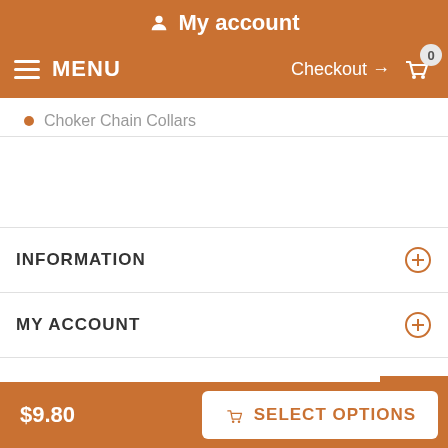My account
MENU   Checkout → 0
Choker Chain Collars
INFORMATION
MY ACCOUNT
FAQ
$9.80
SELECT OPTIONS